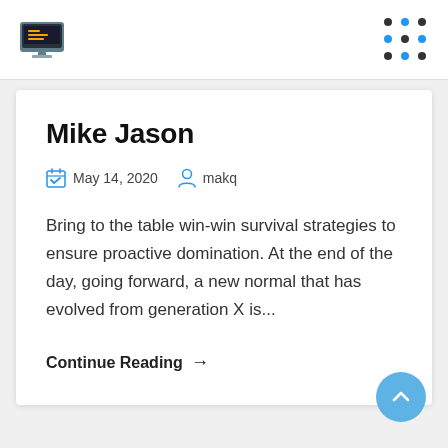Mike Jason blog page header with logo and navigation dots
Mike Jason
May 14, 2020   makq
Bring to the table win-win survival strategies to ensure proactive domination. At the end of the day, going forward, a new normal that has evolved from generation X is...
Continue Reading →